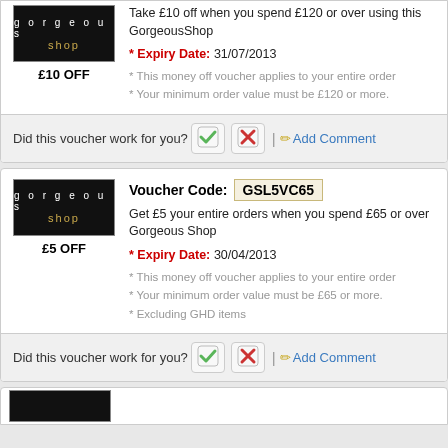[Figure (logo): Gorgeous Shop black logo with gold 'shop' text, £10 OFF label]
Take £10 off when you spend £120 or over using this GorgeousShop
* Expiry Date: 31/07/2013
* This money off voucher applies to your entire order
* Your minimum order value must be £120 or more.
Did this voucher work for you? | Add Comment
Voucher Code: GSL5VC65
[Figure (logo): Gorgeous Shop black logo with gold 'shop' text, £5 OFF label]
Get £5 your entire orders when you spend £65 or over Gorgeous Shop
* Expiry Date: 30/04/2013
* This money off voucher applies to your entire order
* Your minimum order value must be £65 or more.
* Excluding GHD items
Did this voucher work for you? | Add Comment